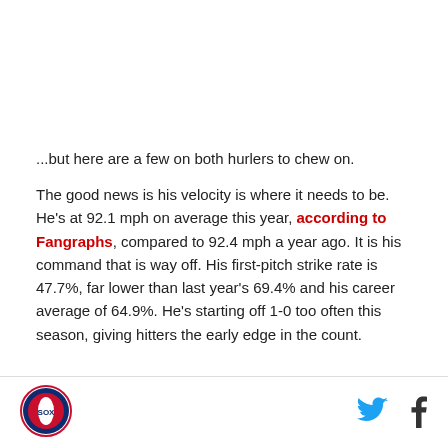...but here are a few on both hurlers to chew on.
The good news is his velocity is where it needs to be. He's at 92.1 mph on average this year, according to Fangraphs, compared to 92.4 mph a year ago. It is his command that is way off. His first-pitch strike rate is 47.7%, far lower than last year's 69.4% and his career average of 64.9%. He's starting off 1-0 too often this season, giving hitters the early edge in the count.
[Figure (logo): Boston Red Sox circular logo with a red and blue design]
[Figure (logo): Twitter bird icon in blue]
[Figure (logo): Facebook f icon in dark color]